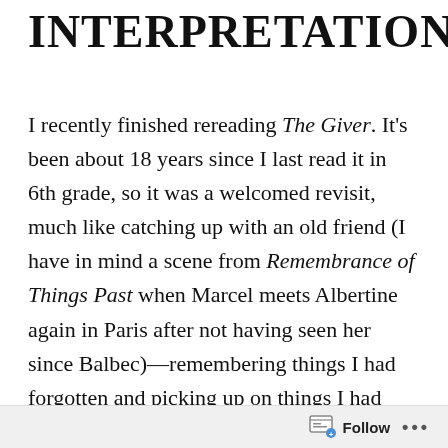INTERPRETATION
I recently finished rereading The Giver. It's been about 18 years since I last read it in 6th grade, so it was a welcomed revisit, much like catching up with an old friend (I have in mind a scene from Remembrance of Things Past when Marcel meets Albertine again in Paris after not having seen her since Balbec)—remembering things I had forgotten and picking up on things I had never noticed. A pleasant experience. This time I was a bit more conscious in my approach to the book (you would hope), looking for an overall meaning to the work beyond the story. I haven't read a lot about what people say the book means, beyond the
Follow ···